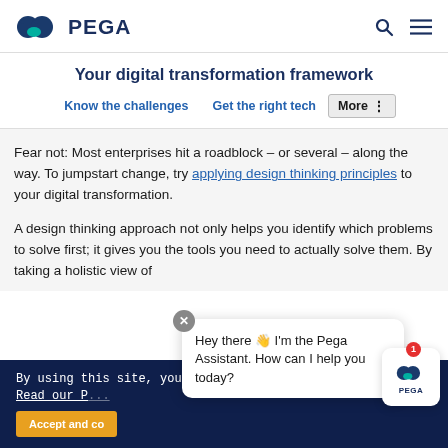PEGA
Your digital transformation framework
Know the challenges  Get the right tech  More
Fear not: Most enterprises hit a roadblock – or several – along the way. To jumpstart change, try applying design thinking principles to your digital transformation.
A design thinking approach not only helps you identify which problems to solve first; it gives you the tools you need to actually solve them. By taking a holistic view of
By using this site, you agree to the use of cookies. Read our P...
Hey there 👋 I'm the Pega Assistant. How can I help you today?